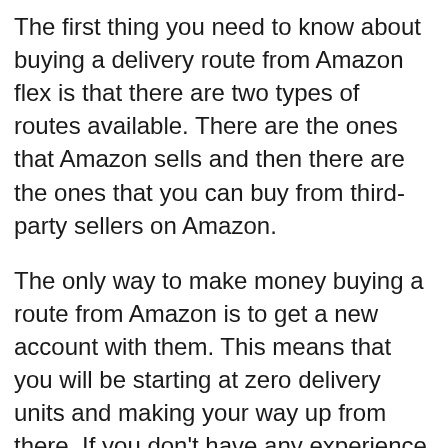The first thing you need to know about buying a delivery route from Amazon flex is that there are two types of routes available. There are the ones that Amazon sells and then there are the ones that you can buy from third-party sellers on Amazon.
The only way to make money buying a route from Amazon is to get a new account with them. This means that you will be starting at zero delivery units and making your way up from there. If you don't have any experience in this field, you should probably consider getting some training before jumping into it head first.
If you want to buy an existing route, then there are several things that you should know about it before making your purchase decision. You need to know how many drivers